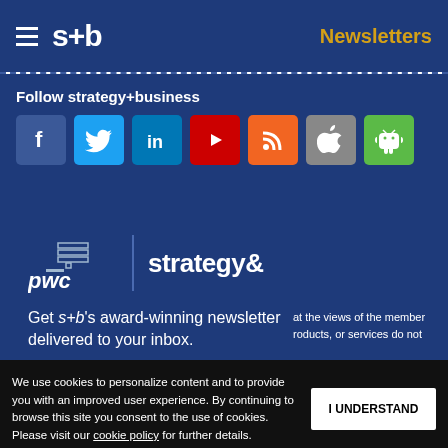s+b | Newsletters
Follow strategy+business
[Figure (infographic): Social media icons: Facebook, Twitter, LinkedIn, YouTube, RSS, Apple, Android]
[Figure (logo): PwC and strategy& logos side by side]
Get s+b's award-winning newsletter delivered to your inbox.
at the views of the member roducts, or services do not
We use cookies to personalize content and to provide you with an improved user experience. By continuing to browse this site you consent to the use of cookies. Please visit our cookie policy for further details.